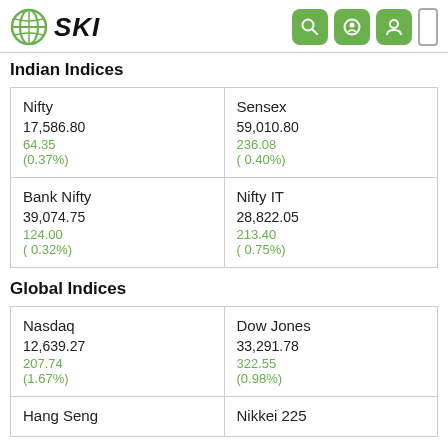SKI
Indian Indices
| Index | Index |
| --- | --- |
| Nifty
17,586.80
64.35
(0.37%) | Sensex
59,010.80
236.08
( 0.40%) |
| Bank Nifty
39,074.75
124.00
( 0.32%) | Nifty IT
28,822.05
213.40
( 0.75%) |
Global Indices
| Index | Index |
| --- | --- |
| Nasdaq
12,639.27
207.74
(1.67%) | Dow Jones
33,291.78
322.55
(0.98%) |
| Hang Seng | Nikkei 225 |